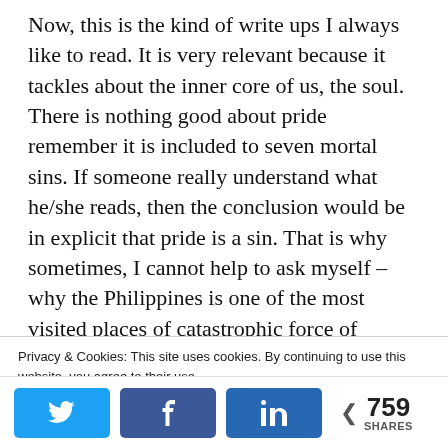Now, this is the kind of write ups I always like to read. It is very relevant because it tackles about the inner core of us, the soul. There is nothing good about pride remember it is included to seven mortal sins. If someone really understand what he/she reads, then the conclusion would be in explicit that pride is a sin. That is why sometimes, I cannot help to ask myself – why the Philippines is one of the most visited places of catastrophic force of nature? Ah, this is might be the effect of having too much pride that has nothing to do with us but the opposite of true
Privacy & Cookies: This site uses cookies. By continuing to use this website, you agree to their use. To find out more, including how to control cookies, see here: Cookie Policy
759 SHARES (social share buttons: Twitter, Facebook, LinkedIn)